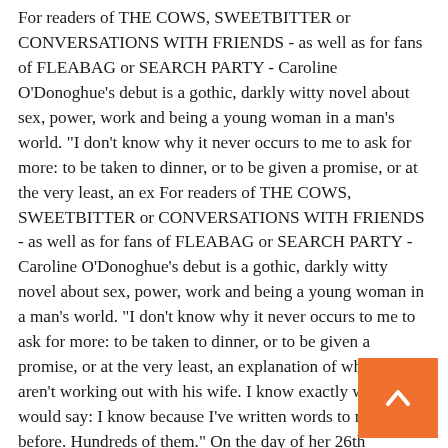For readers of THE COWS, SWEETBITTER or CONVERSATIONS WITH FRIENDS - as well as for fans of FLEABAG or SEARCH PARTY - Caroline O'Donoghue's debut is a gothic, darkly witty novel about sex, power, work and being a young woman in a man's world. "I don't know why it never occurs to me to ask for more: to be taken to dinner, or to be given a promise, or at the very least, an ex For readers of THE COWS, SWEETBITTER or CONVERSATIONS WITH FRIENDS - as well as for fans of FLEABAG or SEARCH PARTY - Caroline O'Donoghue's debut is a gothic, darkly witty novel about sex, power, work and being a young woman in a man's world. "I don't know why it never occurs to me to ask for more: to be taken to dinner, or to be given a promise, or at the very least, an explanation of why things aren't working out with his wife. I know exactly what Jolly would say: I know because I've written words to mistresses before. Hundreds of them." On the day of her 26th birthday, Jane is recently s adrift at her job, and intrigued by why Clem - her much married boss - is singing to her. Meanwhile her alter-ego, the